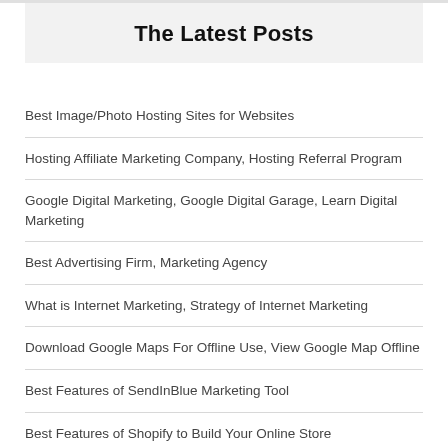The Latest Posts
Best Image/Photo Hosting Sites for Websites
Hosting Affiliate Marketing Company, Hosting Referral Program
Google Digital Marketing, Google Digital Garage, Learn Digital Marketing
Best Advertising Firm, Marketing Agency
What is Internet Marketing, Strategy of Internet Marketing
Download Google Maps For Offline Use, View Google Map Offline
Best Features of SendInBlue Marketing Tool
Best Features of Shopify to Build Your Online Store
Best Tools to Find High Performing Facebook Ads
AI Based Smart Ads Builder By Unbounce
Using Browser Create, Edit and Share Video Presentation: Tella